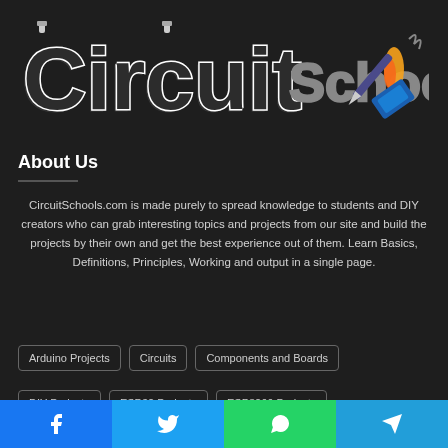[Figure (logo): CircuitSchools logo with stylized text and electronics/soldering iron graphic]
About Us
CircuitSchools.com is made purely to spread knowledge to students and DIY creators who can grab interesting topics and projects from our site and build the projects by their own and get the best experience out of them. Learn Basics, Definitions, Principles, Working and output in a single page.
Arduino Projects
Circuits
Components and Boards
DIY Projects
ESP32 Projects
ESP8266 Projects